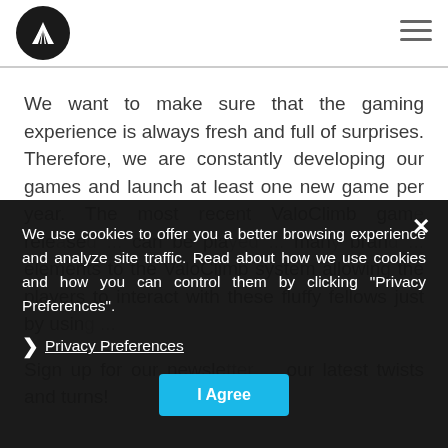[Figure (logo): Circular black logo with white geometric/fan shape icon]
[Figure (other): Hamburger menu icon (three horizontal lines)]
We want to make sure that the gaming experience is always fresh and full of surprises. Therefore, we are constantly developing our games and launch at least one new game per year. The most recent ValoClimb game released ... can be played ... many brand ... elements to the ValoClimb system allowing the players to interact with these fluffy fellows just by using ...
Sign up for our newsletter ... our latest twists and turns!
We use cookies to offer you a better browsing experience and analyze site traffic. Read about how we use cookies and how you can control them by clicking "Privacy Preferences".
❯ Privacy Preferences
I Agree